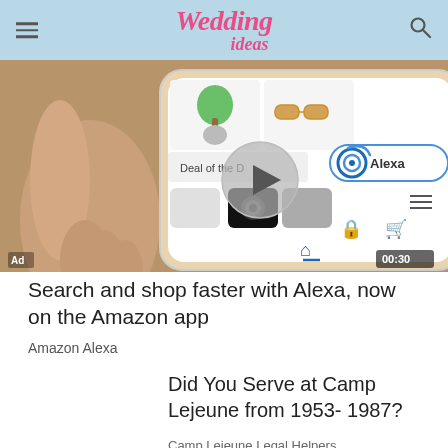Wedding ideas
[Figure (screenshot): A hand holding a smartphone displaying the Amazon app with Alexa integration, showing a shopping interface with product images, a play button overlay, and the Alexa logo. Ad label bottom-left, 00:30 timer bottom-right.]
Search and shop faster with Alexa, now on the Amazon app
Amazon Alexa
Did You Serve at Camp Lejeune from 1953- 1987?
Camp Lejeune Legal Helpers